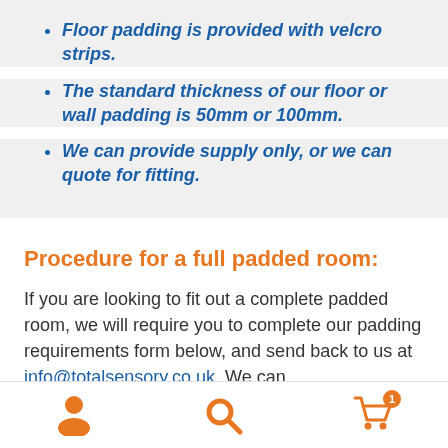Floor padding is provided with velcro strips.
The standard thickness of our floor or wall padding is 50mm or 100mm.
We can provide supply only, or we can quote for fitting.
Procedure for a full padded room:
If you are looking to fit out a complete padded room, we will require you to complete our padding requirements form below, and send back to us at info@totalsensory.co.uk. We can...